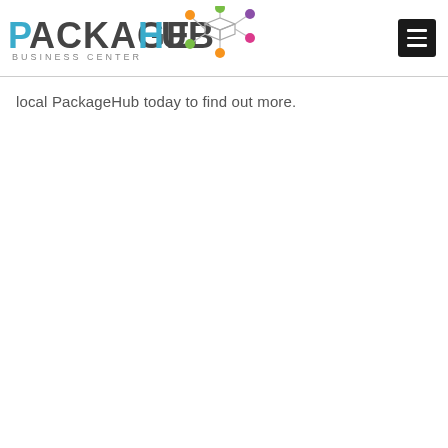[Figure (logo): PackageHub Business Center logo with colored dot network graphic]
local PackageHub today to find out more.